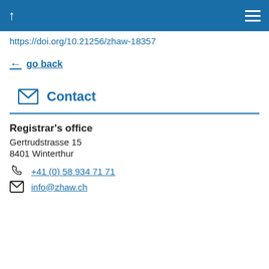↑  ☰
https://doi.org/10.21256/zhaw-18357
← go back
Contact
Registrar's office
Gertrudstrasse 15
8401 Winterthur
+41 (0) 58 934 71 71
info@zhaw.ch